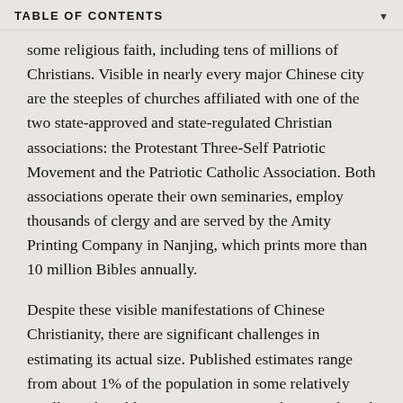TABLE OF CONTENTS
some religious faith, including tens of millions of Christians. Visible in nearly every major Chinese city are the steeples of churches affiliated with one of the two state-approved and state-regulated Christian associations: the Protestant Three-Self Patriotic Movement and the Patriotic Catholic Association. Both associations operate their own seminaries, employ thousands of clergy and are served by the Amity Printing Company in Nanjing, which prints more than 10 million Bibles annually.
Despite these visible manifestations of Chinese Christianity, there are significant challenges in estimating its actual size. Published estimates range from about 1% of the population in some relatively smallsample public opinion surveys to about 8% based on reviews of church membership reports.2 Indeed, the estimate offered in this study (5%) is only an approximate